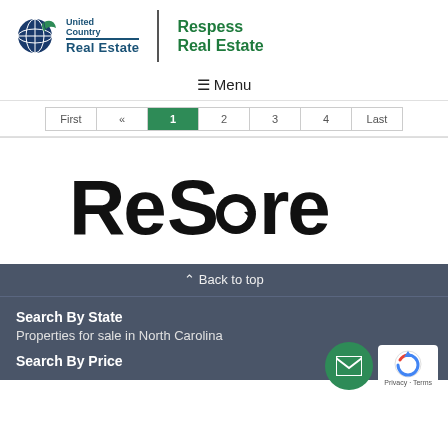[Figure (logo): United Country Real Estate logo with globe icon, blue text 'United Country Real Estate' on left, green text 'Respess Real Estate' on right, separated by a vertical bar]
≡ Menu
| First | « | 1 | 2 | 3 | 4 | Last |
[Figure (logo): ReScore logo in large bold black text with a circular arrow incorporated into the letter 'o']
^ Back to top
Search By State
Properties for sale in North Carolina
Search By Price